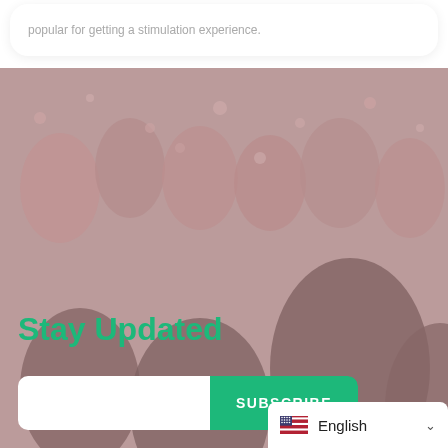popular for getting a stimulation experience.
[Figure (photo): Background photo of a crowd at an outdoor event/concert with confetti or blossoms, semi-transparent overlay]
Stay Updated
SUBSCRIBE (button)
English (language selector with US flag)